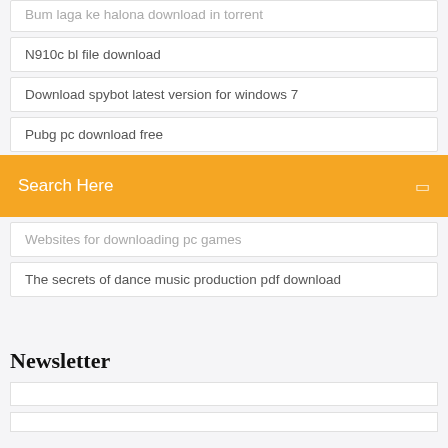Bum laga ke halona download in torrent
N910c bl file download
Download spybot latest version for windows 7
Pubg pc download free
Android change input language toast downloading
[Figure (screenshot): Orange search bar overlay with 'Search Here' text and search icon]
Websites for downloading pc games
The secrets of dance music production pdf download
Newsletter